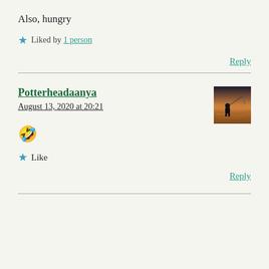Also, hungry
★ Liked by 1 person
Reply
Potterheadaanya
August 13, 2020 at 20:21
[Figure (photo): Small square avatar photo showing a silhouette of a person fishing at sunset]
🤣
★ Like
Reply